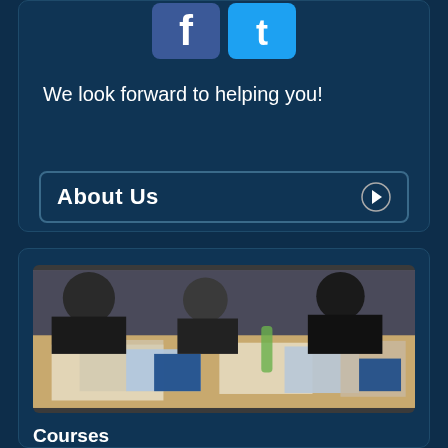[Figure (logo): Facebook and Twitter social media icons at top of card]
We look forward to helping you!
About Us
[Figure (photo): People sitting around a table studying aviation charts and materials]
Courses
We provide access to courses for all the subjects required for the EASA Private Pilots Licence